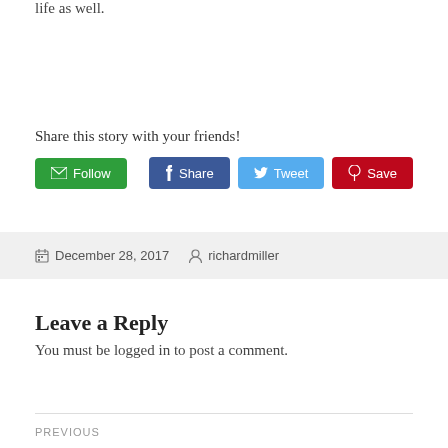life as well.
Share this story with your friends!
December 28, 2017   richardmiller
Leave a Reply
You must be logged in to post a comment.
PREVIOUS